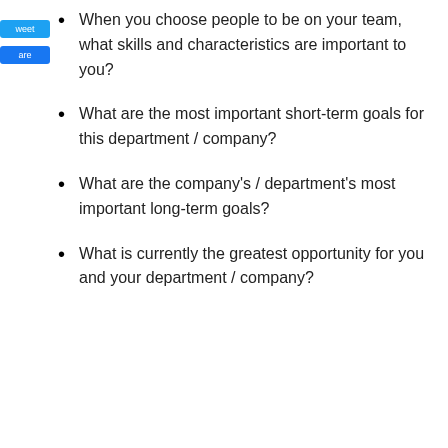When you choose people to be on your team, what skills and characteristics are important to you?
What are the most important short-term goals for this department / company?
What are the company's / department's most important long-term goals?
What is currently the greatest opportunity for you and your department / company?